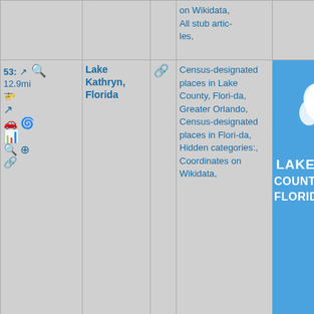| Icons/Distance | Name | Link | Categories | Image |
| --- | --- | --- | --- | --- |
| (partial row) on Wikidata, All stub articles, |  |  |  |  |
| 53: 12.9mi [icons] | Lake Kathryn, Florida | [link] | Census-designated places in Lake County, Florida, Greater Orlando, Census-designated places in Florida, Hidden categories:, Coordinates on Wikidata, | Lake County Florida image |
| 54: 13.6mi [icons] | Lake Griffin State Park | [link] | IUCN Category Ib, Parks in Lake County, Florida, State parks of Florida, Florida state park stubs, Greater Orlando geography stubs, Hidden categories:, Coordinates on Wikidata, | Beach photo |